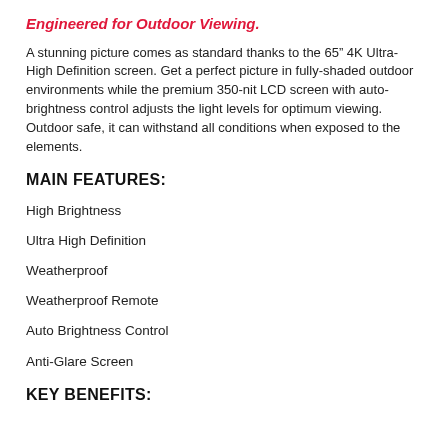Engineered for Outdoor Viewing.
A stunning picture comes as standard thanks to the 65” 4K Ultra-High Definition screen. Get a perfect picture in fully-shaded outdoor environments while the premium 350-nit LCD screen with auto-brightness control adjusts the light levels for optimum viewing. Outdoor safe, it can withstand all conditions when exposed to the elements.
MAIN FEATURES:
High Brightness
Ultra High Definition
Weatherproof
Weatherproof Remote
Auto Brightness Control
Anti-Glare Screen
KEY BENEFITS: